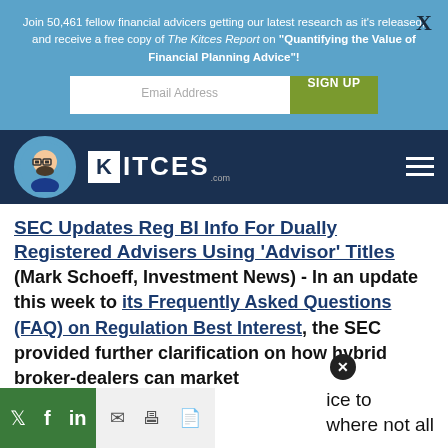Join 50,461 fellow financial advicers getting our latest research as it's released, and receive a free copy of The Kitces Report on "Quantifying the Value of Financial Planning Advice"!
[Figure (screenshot): Email address input field and green SIGN UP button]
[Figure (logo): Kitces.com logo with avatar on dark navy navigation bar]
SEC Updates Reg BI Info For Dually Registered Advisers Using 'Advisor' Titles (Mark Schoeff, Investment News) - In an update this week to its Frequently Asked Questions (FAQ) on Regulation Best Interest, the SEC provided further clarification on how hybrid broker-dealers can market ice to where not all
[Figure (screenshot): Social sharing bar with Twitter, Facebook, LinkedIn, email, print, and PDF icons]